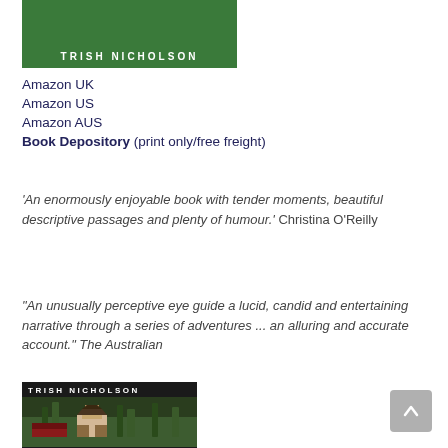[Figure (illustration): Book cover showing green background with author name TRISH NICHOLSON in white letters]
Amazon UK
Amazon US
Amazon AUS
Book Depository (print only/free freight)
'An enormously enjoyable book with tender moments, beautiful descriptive passages and plenty of humour.' Christina O'Reilly
“An unusually perceptive eye guide a lucid, candid and entertaining narrative through a series of adventures ... an alluring and accurate account.” The Australian
[Figure (illustration): Book cover with author name TRISH NICHOLSON showing a monastery/building in mountains]
[Figure (other): Scroll-to-top button (grey rounded rectangle with upward chevron)]